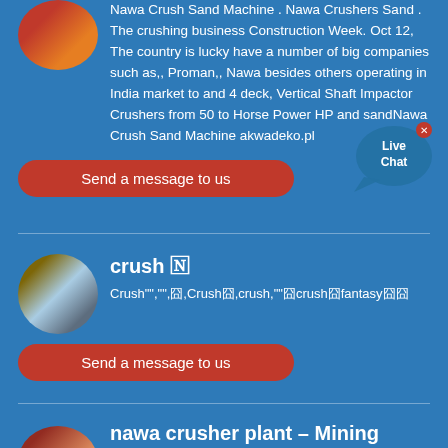Nawa Crush Sand Machine . Nawa Crushers Sand . The crushing business Construction Week. Oct 12, The country is lucky have a number of big companies such as,, Proman,, Nawa besides others operating in India market to and 4 deck, Vertical Shaft Impactor Crushers from 50 to Horse Power HP and sandNawa Crush Sand Machine akwadeko.pl
Send a message to us
[Figure (illustration): Live Chat bubble icon with close button]
crush 🄽
Crush"","",囧,Crush囧,crush,""囧crush囧fantasy囧囧
Send a message to us
nawa crusher plant – Mining